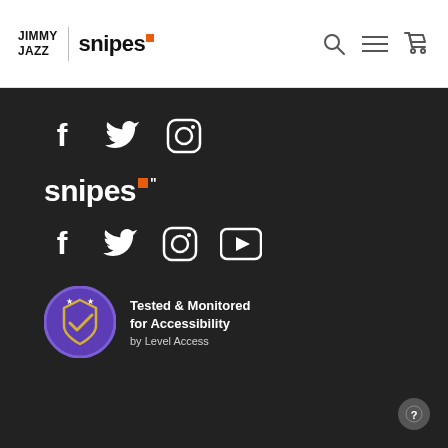JIMMY JAZZ | snipes
[Figure (logo): Jimmy Jazz and Snipes combined logo with navigation icons (search, menu, cart)]
[Figure (infographic): Dark footer section with Jimmy Jazz social media icons: Facebook, Twitter, Instagram]
[Figure (logo): Snipes logo in white on dark background]
[Figure (infographic): Snipes social media icons: Facebook, Twitter, Instagram, YouTube]
[Figure (infographic): Accessibility badge: Tested & Monitored for Accessibility by Level Access]
Tested & Monitored for Accessibility by Level Access